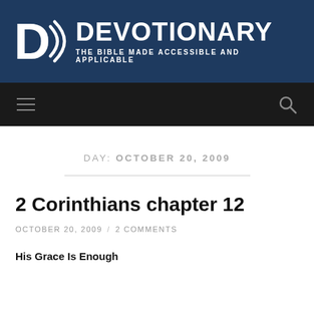[Figure (logo): Devotionary logo banner with blue background, D with sound waves icon on left, DEVOTIONARY in bold white text, subtitle THE BIBLE MADE ACCESSIBLE AND APPLICABLE]
[Figure (screenshot): Dark navigation bar with hamburger menu icon on left and search/magnifying glass icon on right]
DAY: OCTOBER 20, 2009
2 Corinthians chapter 12
OCTOBER 20, 2009 / 2 COMMENTS
His Grace Is Enough